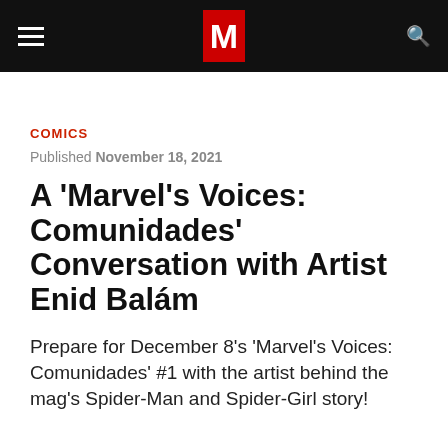M (Marvel logo navigation bar)
COMICS
Published November 18, 2021
A 'Marvel's Voices: Comunidades' Conversation with Artist Enid Balám
Prepare for December 8's 'Marvel's Voices: Comunidades' #1 with the artist behind the mag's Spider-Man and Spider-Girl story!